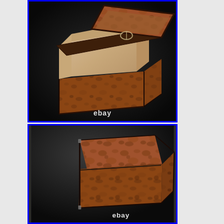[Figure (photo): Open wooden burl box photographed from above at an angle, showing the inside empty interior with light wood lining, with the lid propped open. Metal hinge visible. Dark background. eBay watermark at bottom.]
[Figure (photo): Closed wooden burl box photographed from a slight angle showing the top and front faces. Box has dark metal corner trim. Dark background. eBay watermark at bottom.]